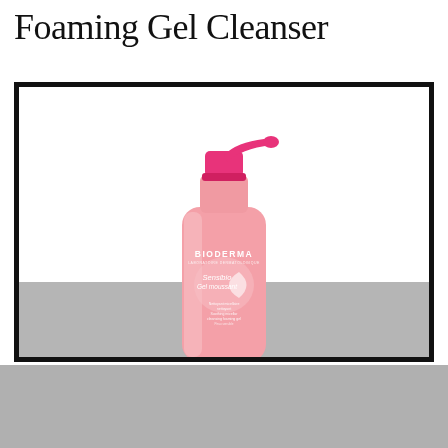Foaming Gel Cleanser
[Figure (photo): Bioderma Sensibio Gel Moussant foaming gel cleanser bottle with pink pump dispenser, shown against white background with gray bottom section]